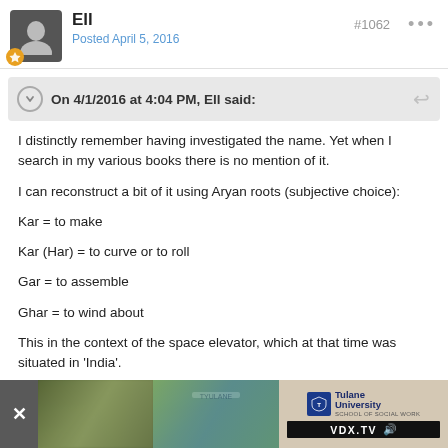Ell — Posted April 5, 2016 — #1062
On 4/1/2016 at 4:04 PM, Ell said:
I distinctly remember having investigated the name. Yet when I search in my various books there is no mention of it.

I can reconstruct a bit of it using Aryan roots (subjective choice):

Kar = to make

Kar (Har) = to curve or to roll

Gar = to assemble

Ghar = to wind about

This in the context of the space elevator, which at that time was situated in 'India'.
[Figure (screenshot): Advertisement bar at bottom of page showing blurred outdoor images and Tulane University School of Social Work VDX.TV advertisement]